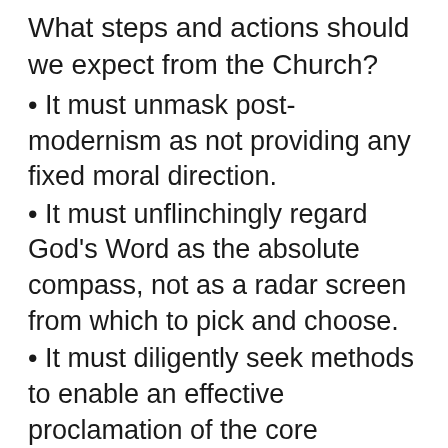What steps and actions should we expect from the Church?
It must unmask post-modernism as not providing any fixed moral direction.
It must unflinchingly regard God's Word as the absolute compass, not as a radar screen from which to pick and choose.
It must diligently seek methods to enable an effective proclamation of the core message of salvation and renewal of the heart.
It must unequivocally, yet in compassionate language, warn of the evils of a so-called freedom that recognizes no moral boundaries.
It must learn to discern the times with wisdom. The Church did not see the present crisis coming.
It must mobilise fervent prayer campaigns for